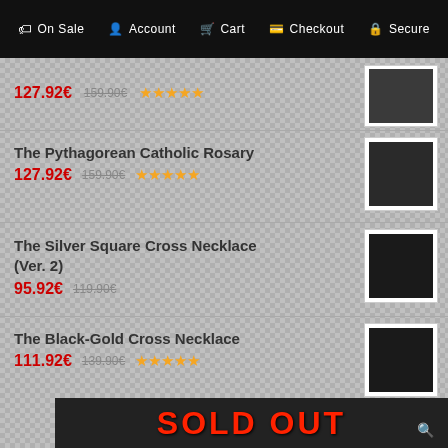On Sale  Account  Cart  Checkout  Secure
127.92€  159.90€  ★★★★★
The Pythagorean Catholic Rosary
127.92€  159.90€  ★★★★★
The Silver Square Cross Necklace (Ver. 2)
95.92€  119.90€
The Black-Gold Cross Necklace
111.92€  139.90€  ★★★★★
[Figure (screenshot): Sold Out banner image with red text on dark background, showing a braided cord item]